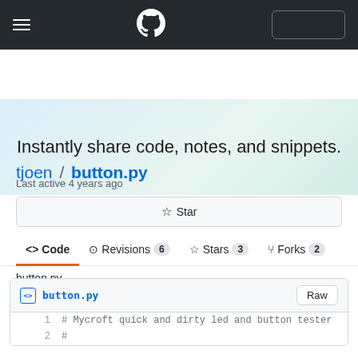[Figure (screenshot): GitHub navigation bar with hamburger menu, GitHub Octocat logo, and a rectangular button outline on the right]
Instantly share code, notes, and snippets.
tjoen / button.py
Last active 4 years ago
☆ Star
<> Code   -o-Revisions 6   ☆Stars 3   ⑂Forks 2
button.py
button.py   Raw
1   # Mycroft quick and dirty led and button tester
2   #